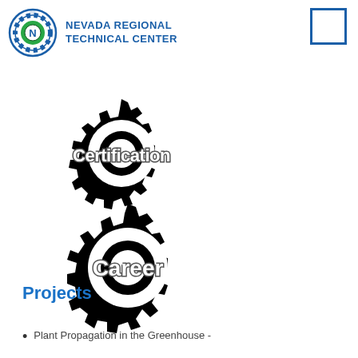[Figure (logo): Nevada Regional Technical Center logo: gear icon with green circle and N, followed by text NEVADA REGIONAL TECHNICAL CENTER in blue]
[Figure (illustration): Black gear icon with text 'Certification' overlaid in gray 3D style font]
[Figure (illustration): Black gear icon with text 'Career' overlaid in gray 3D style font]
Projects
Plant Propagation in the Greenhouse -